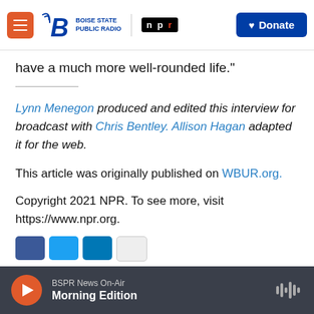Boise State Public Radio | NPR — Donate
have a much more well-rounded life.”
Lynn Menegon produced and edited this interview for broadcast with Chris Bentley. Allison Hagan adapted it for the web.
This article was originally published on WBUR.org.
Copyright 2021 NPR. To see more, visit https://www.npr.org.
BSPR News On-Air — Morning Edition